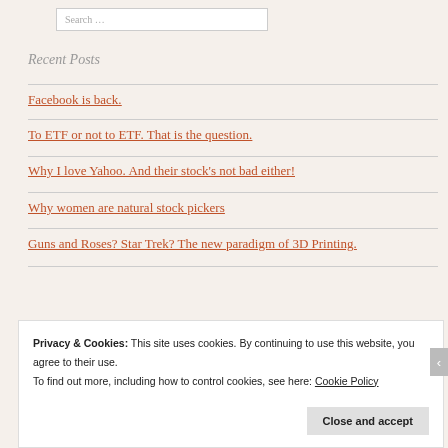Search …
Recent Posts
Facebook is back.
To ETF or not to ETF. That is the question.
Why I love Yahoo. And their stock's not bad either!
Why women are natural stock pickers
Guns and Roses? Star Trek? The new paradigm of 3D Printing.
Privacy & Cookies: This site uses cookies. By continuing to use this website, you agree to their use. To find out more, including how to control cookies, see here: Cookie Policy
Close and accept